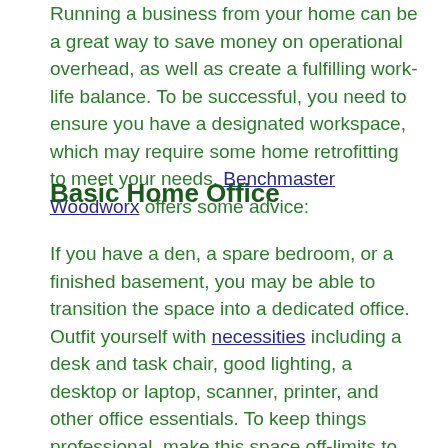Running a business from your home can be a great way to save money on operational overhead, as well as create a fulfilling work-life balance. To be successful, you need to ensure you have a designated workspace, which may require some home retrofitting to meet your needs. Benchmaster Woodworx offers some advice:
Basic Home Office
If you have a den, a spare bedroom, or a finished basement, you may be able to transition the space into a dedicated office. Outfit yourself with necessities including a desk and task chair, good lighting, a desktop or laptop, scanner, printer, and other office essentials. To keep things professional, make this space off-limits to the rest of the household, and resist the urge to make office space pull double duty as a guest room or storage space. Post a board with your schedule outside the office, if necessary, to allow household members to quickly assess when you are